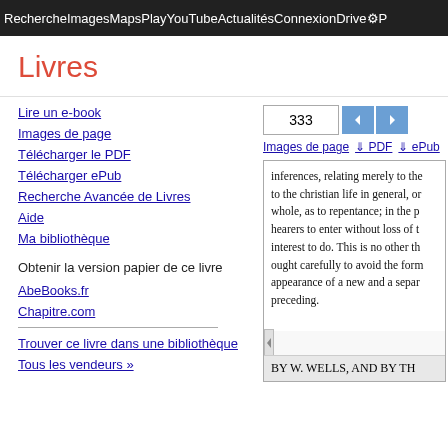Recherche Images Maps Play YouTube Actualités Connexion Drive P
Livres
Lire un e-book
Images de page
Télécharger le PDF
Télécharger ePub
Recherche Avancée de Livres
Aide
Ma bibliothèque
Obtenir la version papier de ce livre
AbeBooks.fr
Chapitre.com
Trouver ce livre dans une bibliothèque
Tous les vendeurs »
[Figure (screenshot): Google Books page viewer showing page 333 of a book with navigation controls, download links (Images de page, PDF, ePub), and partial book text: 'inferences, relating merely to the... to the christian life in general, or... whole, as to repentance; in the p... hearers to enter without loss of t... interest to do. This is no other th... ought carefully to avoid the form... appearance of a new and a separ... preceding.' Footer shows 'BY W. WELLS, AND BY TH']